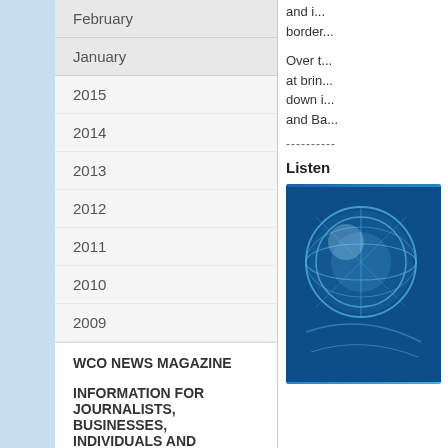February
January
2015
2014
2013
2012
2011
2010
2009
WCO NEWS MAGAZINE
INFORMATION FOR JOURNALISTS, BUSINESSES, INDIVIDUALS AND TRAVELLERS
and i... border...
Over t... at brin... down i... and Ba...
----------
Listen
[Figure (illustration): Blue circular UN emblem/globe illustration on dark blue background]